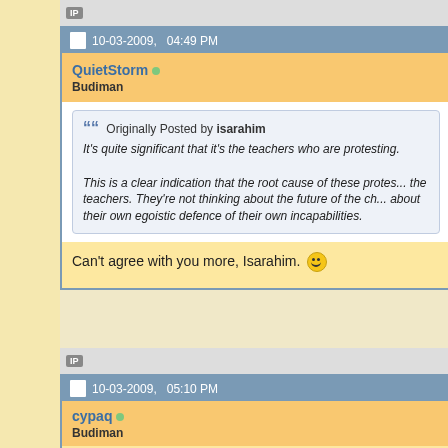IP
10-03-2009,   04:49 PM
QuietStorm ○
Budiman
Originally Posted by isarahim
It's quite significant that it's the teachers who are protesting.
This is a clear indication that the root cause of these protests is the teachers. They're not thinking about the future of the children but about their own egoistic defence of their own incapabilities.
Can't agree with you more, Isarahim. 🙂
IP
10-03-2009,   05:10 PM
cypaq ○
Budiman
Here is my non political take.